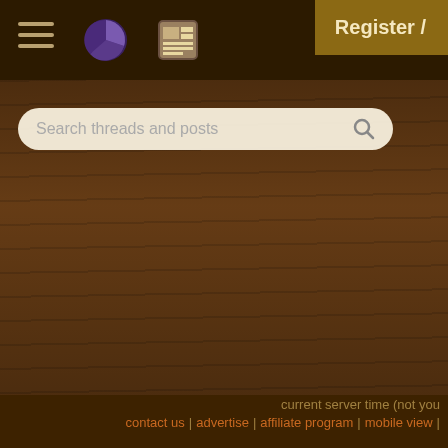Navigation bar with hamburger menu, pie chart icon, list icon
[Figure (screenshot): Search bar with text 'Search threads and posts' and magnifier icon]
[Figure (screenshot): Register / button in golden brown]
How to Grow (Start) Pe — 19 replies
In window thermosyph — 26 replies
Medieval windows mac — 25 replies
Igloo-fridge idea — 7 replies
current server time (not you — contact us | advertise | affiliate program | mobile view |